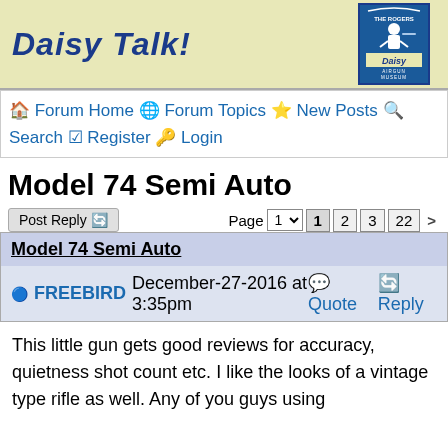[Figure (logo): Daisy Talk! forum banner with logo showing Rogers Daisy Airgun Museum branding. Yellow/tan background with blue bold italic text 'Daisy Talk!' and a Daisy Airgun Museum logo image on the right.]
🏠 Forum Home 🙂 Forum Topics ⭐ New Posts 🔍 Search ☑ Register 🔑 Login
Model 74 Semi Auto
Post Reply 🔄   Page 1 ▾  1  2  3  22  >
Model 74 Semi Auto
🔵 FREEBIRD December-27-2016 at 3:35pm  💬 Quote 🔄 Reply
This little gun gets good reviews for accuracy, quietness shot count etc. I like the looks of a vintage type rifle as well. Any of you guys using